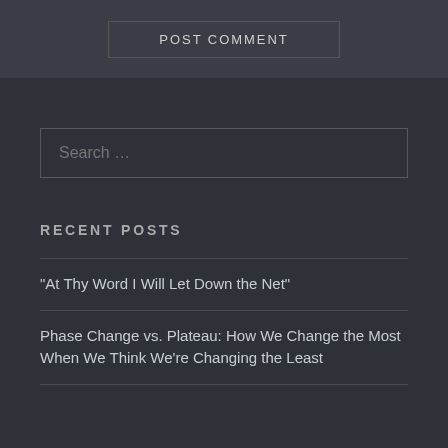POST COMMENT
Search …
RECENT POSTS
“At Thy Word I Will Let Down the Net”
Phase Change vs. Plateau: How We Change the Most When We Think We're Changing the Least